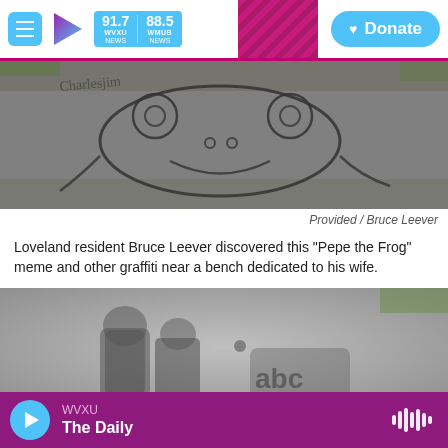WVXU 91.7 NEWS | WMUB 88.5 NEWS | Donate
[Figure (photo): Photo of graffiti on pavement showing a 'Pepe the Frog' meme drawn in dark marker or chalk on asphalt]
Provided / Bruce Leever
Loveland resident Bruce Leever discovered this "Pepe the Frog" meme and other graffiti near a bench dedicated to his wife.
[Figure (photo): Photo of additional graffiti on pavement, dark shadowy markings on asphalt]
WVXU | The Daily